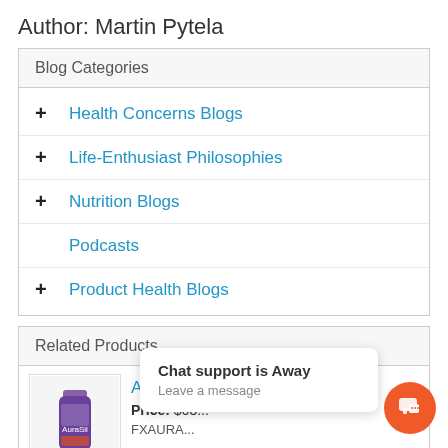Author: Martin Pytela
Blog Categories
+ Health Concerns Blogs
+ Life-Enthusiast Philosophies
+ Nutrition Blogs
Podcasts
+ Product Health Blogs
Related Products
AuraSil
Price: $63...
FXAURA...
Chat support is Away
Leave a message